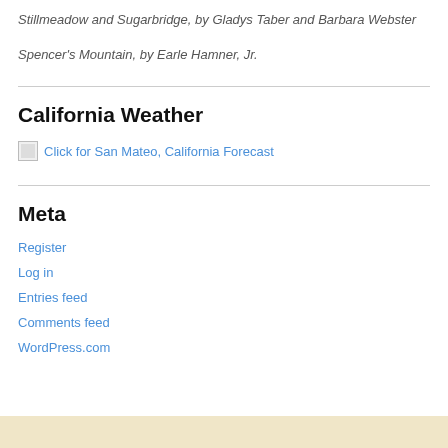Stillmeadow and Sugarbridge, by Gladys Taber and Barbara Webster
Spencer's Mountain, by Earle Hamner, Jr.
California Weather
[Figure (other): Broken image placeholder linking to San Mateo, California Forecast weather widget]
Meta
Register
Log in
Entries feed
Comments feed
WordPress.com